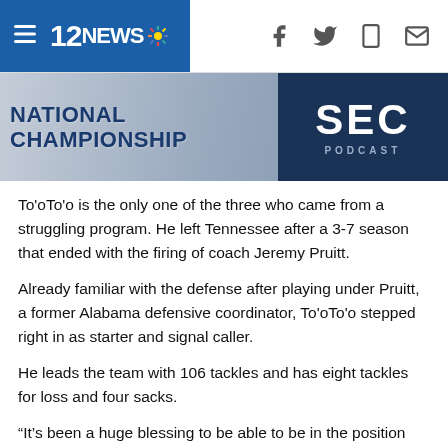12NEWS
[Figure (photo): Banner image showing NATIONAL CHAMPIONSHIP text with SEC PODCAST badge on the right]
To'oTo'o is the only one of the three who came from a struggling program. He left Tennessee after a 3-7 season that ended with the firing of coach Jeremy Pruitt.
Already familiar with the defense after playing under Pruitt, a former Alabama defensive coordinator, To'oTo'o stepped right in as starter and signal caller.
He leads the team with 106 tackles and has eight tackles for loss and four sacks.
“It’s been a huge blessing to be able to be in the position that I am and being able to be in this game with the group of guys and the coaches,” To’oTo’o said. “It’s been a blessing. I can’t complain about anything I’ve been through.
“I love every single part of my road.”